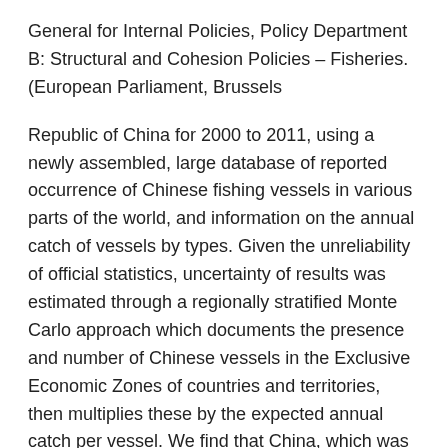General for Internal Policies, Policy Department B: Structural and Cohesion Policies – Fisheries. (European Parliament, Brussels
Republic of China for 2000 to 2011, using a newly assembled, large database of reported occurrence of Chinese fishing vessels in various parts of the world, and information on the annual catch of vessels by types. Given the unreliability of official statistics, uncertainty of results was estimated through a regionally stratified Monte Carlo approach which documents the presence and number of Chinese vessels in the Exclusive Economic Zones of countries and territories, then multiplies these by the expected annual catch per vessel. We find that China, which was known to over-report its domestic catch, massively under- reports the catch of its distant-water fleets. This catch, conservatively estimated at 4.6 million t·year-1 (±687,000 t·year-1) globally for 2000 to 2011 (compared to an average of 368,000 t·year-1 reported by China to FAO), corresponds to an ex-vessel landed value